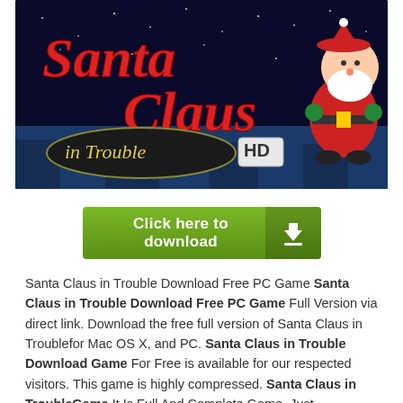[Figure (screenshot): Banner image for 'Santa Claus in Trouble HD' game showing the game title logo in red script lettering with Santa Claus character on a dark night sky background with rooftops]
[Figure (other): Green download button with text 'Click here to download' and a download arrow icon on the right side]
Santa Claus in Trouble Download Free PC Game Santa Claus in Trouble Download Free PC Game Full Version via direct link. Download the free full version of Santa Claus in Troublefor Mac OS X, and PC. Santa Claus in Trouble Download Game For Free is available for our respected visitors. This game is highly compressed. Santa Claus in TroubleGame It Is Full And Complete Game. Just Download, Run Setup And Install.